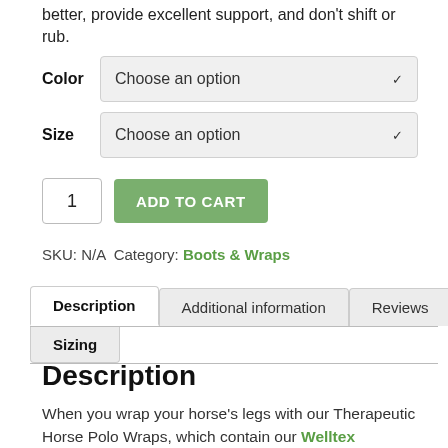better, provide excellent support, and don't shift or rub.
Color  Choose an option
Size  Choose an option
1  ADD TO CART
SKU: N/A  Category: Boots & Wraps
Description  Additional information  Reviews  Sizing
Description
When you wrap your horse's legs with our Therapeutic Horse Polo Wraps, which contain our Welltex material, you